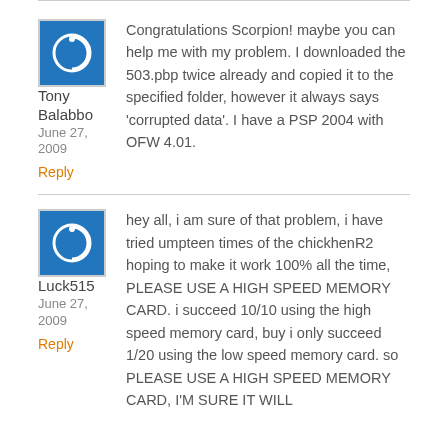Tony Balabbo
June 27, 2009
Reply
Congratulations Scorpion! maybe you can help me with my problem. I downloaded the 503.pbp twice already and copied it to the specified folder, however it always says ‘corrupted data’. I have a PSP 2004 with OFW 4.01.
Luck515
June 27, 2009
Reply
hey all, i am sure of that problem, i have tried umpteen times of the chickhenR2 hoping to make it work 100% all the time, PLEASE USE A HIGH SPEED MEMORY CARD. i succeed 10/10 using the high speed memory card, buy i only succeed 1/20 using the low speed memory card. so PLEASE USE A HIGH SPEED MEMORY CARD, I’M SURE IT WILL